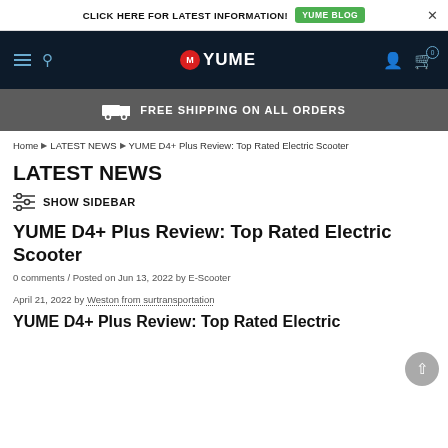CLICK HERE FOR LATEST INFORMATION! YUME BLOG ×
[Figure (screenshot): YUME website navigation bar with hamburger menu, search icon, YUME logo (red M icon), user icon, and cart icon with 0 badge on dark navy background]
FREE SHIPPING ON ALL ORDERS
Home › LATEST NEWS › YUME D4+ Plus Review: Top Rated Electric Scooter
LATEST NEWS
SHOW SIDEBAR
YUME D4+ Plus Review: Top Rated Electric Scooter
0 comments / Posted on Jun 13, 2022 by E-Scooter
April 21, 2022 by Weston from surtransportation
YUME D4+ Plus Review: Top Rated Electric Scooter